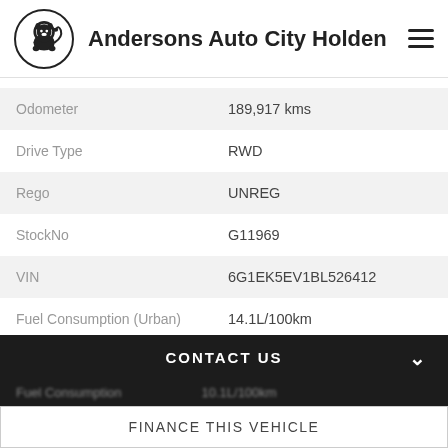Andersons Auto City Holden
| Field | Value |
| --- | --- |
| Odometer | 189,917 kms |
| Drive Type | RWD |
| Rego | UNREG |
| StockNo | G11969 |
| VIN | 6G1EK5EV1BL526412 |
| Fuel Consumption (Urban) | 14.1L/100km |
| Fuel Consumption (Extra Urban) | 7.8L/100km |
| Fuel Consumption | 10.1L/100km |
CONTACT US
FINANCE THIS VEHICLE